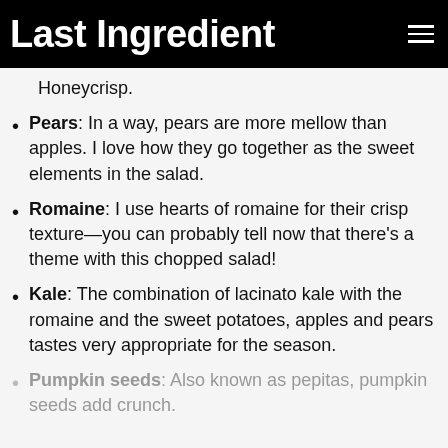Last Ingredient
Honeycrisp.
Pears: In a way, pears are more mellow than apples. I love how they go together as the sweet elements in the salad.
Romaine: I use hearts of romaine for their crisp texture—you can probably tell now that there's a theme with this chopped salad!
Kale: The combination of lacinato kale with the romaine and the sweet potatoes, apples and pears tastes very appropriate for the season.
Pumpkin seeds: Also known as pepitas, pumpkin seeds add crunch.